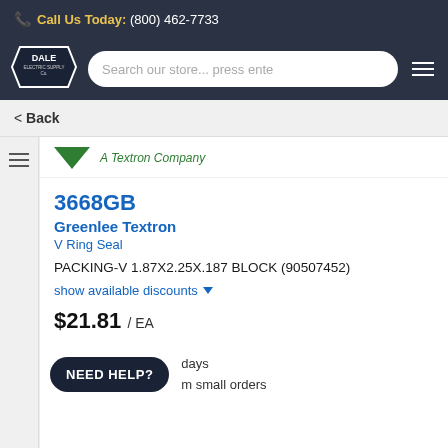Call Us Today: (800) 462-7733
[Figure (logo): Dale Electric Supply Co. logo — hexagonal badge shape with white text on dark background]
Search our store... press enter
< Back
A Textron Company
3668GB
Greenlee Textron
V Ring Seal
PACKING-V 1.87X2.25X.187 BLOCK (90507452)
show available discounts ▼
$21.81 / EA
NEED HELP?
days
m small orders